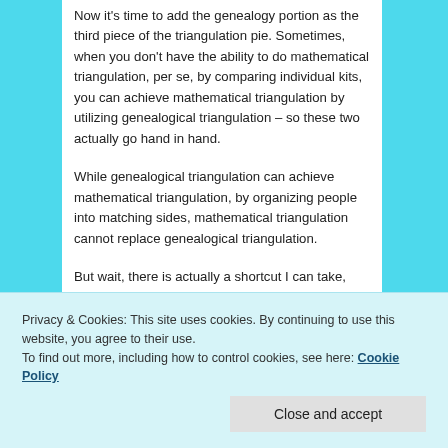Now it's time to add the genealogy portion as the third piece of the triangulation pie. Sometimes, when you don't have the ability to do mathematical triangulation, per se, by comparing individual kits, you can achieve mathematical triangulation by utilizing genealogical triangulation – so these two actually go hand in hand.
While genealogical triangulation can achieve mathematical triangulation, by organizing people into matching sides, mathematical triangulation cannot replace genealogical triangulation.
But wait, there is actually a shortcut I can take, and it is a way to begin adding genealogy immediately and easily.
Privacy & Cookies: This site uses cookies. By continuing to use this website, you agree to their use. To find out more, including how to control cookies, see here: Cookie Policy
ancestral lines assigned. In fact, sometimes the